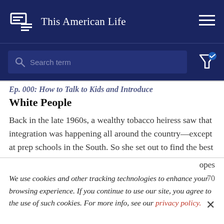This American Life
[Figure (screenshot): Search bar with placeholder text 'Search term' on dark navy background, with filter icon on the right]
White People
Back in the late 1960s, a wealthy tobacco heiress saw that integration was happening all around the country—except at prep schools in the South. So she set out to find the best
opes
70
We use cookies and other tracking technologies to enhance your browsing experience. If you continue to use our site, you agree to the use of such cookies. For more info, see our privacy policy.